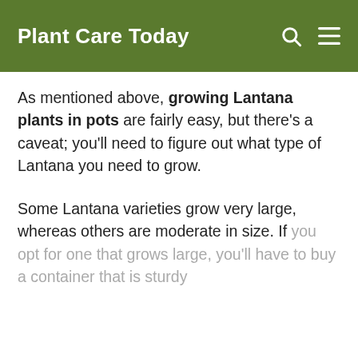Plant Care Today
As mentioned above, growing Lantana plants in pots are fairly easy, but there's a caveat; you'll need to figure out what type of Lantana you need to grow.
Some Lantana varieties grow very large, whereas others are moderate in size. If you opt for one that grows large, you'll have to buy a container that is sturdy